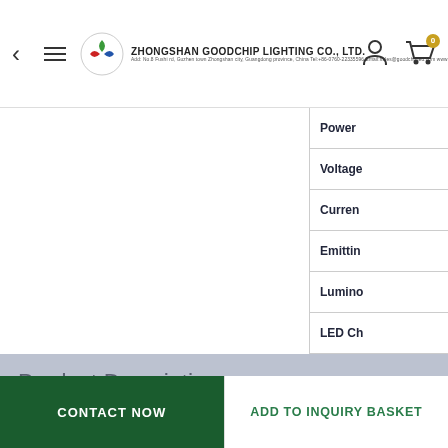Zhongshan Goodchip Lighting Co., Ltd.
| Property |
| --- |
| Power |
| Voltage |
| Current |
| Emitting |
| Luminous |
| LED Ch |
| Lifespan |
Product Description
CONTACT NOW
ADD TO INQUIRY BASKET